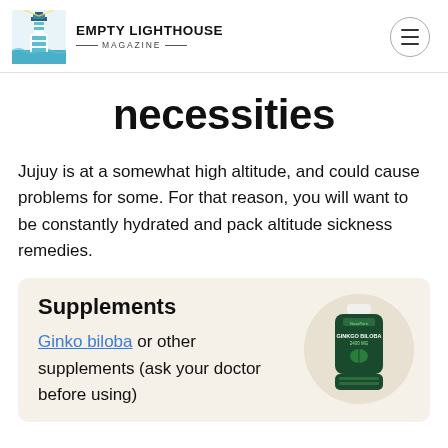Empty Lighthouse Magazine
necessities
Jujuy is at a somewhat high altitude, and could cause problems for some. For that reason, you will want to be constantly hydrated and pack altitude sickness remedies.
Supplements
Ginko biloba or other supplements (ask your doctor before using)
[Figure (photo): Green supplement bottle labeled Ginkgo Biloba 2400 MG]